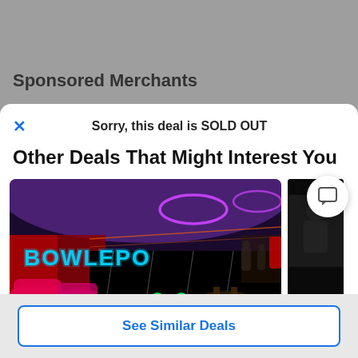Sponsored Merchants
Sorry, this deal is SOLD OUT
Other Deals That Might Interest You
[Figure (photo): Interior of a bowling alley called BOWLEPO with neon purple and red lighting, bowling lanes, colorful bowling balls, and lounge seating]
[Figure (photo): Partially visible dark second image to the right]
See Similar Deals